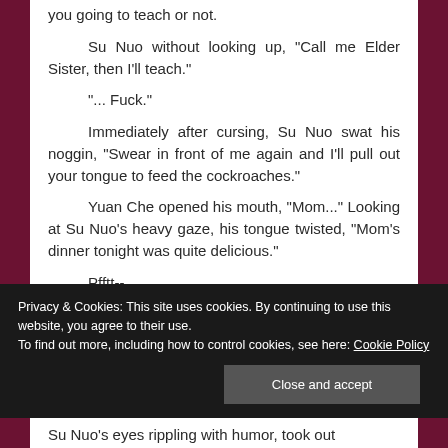you going to teach or not.
Su Nuo without looking up, "Call me Elder Sister, then I'll teach."
"... Fuck."
Immediately after cursing, Su Nuo swat his noggin, "Swear in front of me again and I'll pull out your tongue to feed the cockroaches."
Yuan Che opened his mouth, "Mom..." Looking at Su Nuo's heavy gaze, his tongue twisted, "Mom's dinner tonight was quite delicious."
Pfftt--
Yuan Cheng and Zhao Xingchen bowed their heads low, laughing.
Privacy & Cookies: This site uses cookies. By continuing to use this website, you agree to their use. To find out more, including how to control cookies, see here: Cookie Policy
Close and accept
Su Nuo's eyes rippling with humor, took out